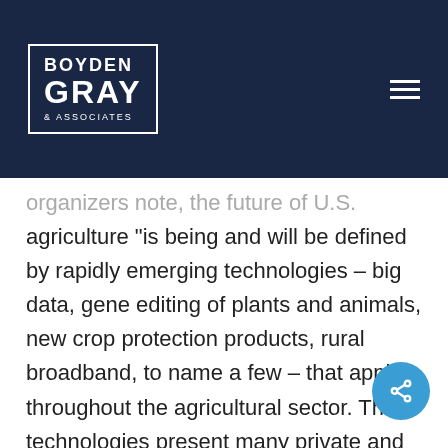Boyden Gray & Associates
organizers note, the future of U.S. agriculture “is being and will be defined by rapidly emerging technologies – big data, gene editing of plants and animals, new crop protection products, rural broadband, to name a few – that apply throughout the agricultural sector. These technologies present many private and public sector opportunities and challenges, and raise novel legal and policy questions that must be dealt